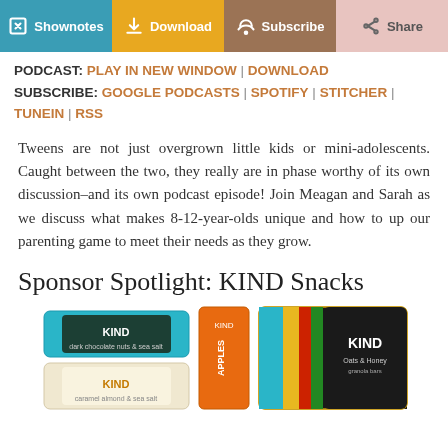[Figure (other): Top navigation banner with four buttons: Shownotes (teal), Download (yellow/orange), Subscribe (brown), Share (light pink/salmon)]
PODCAST: PLAY IN NEW WINDOW | DOWNLOAD SUBSCRIBE: GOOGLE PODCASTS | SPOTIFY | STITCHER | TUNEIN | RSS
Tweens are not just overgrown little kids or mini-adolescents. Caught between the two, they really are in phase worthy of its own discussion–and its own podcast episode! Join Meagan and Sarah as we discuss what makes 8-12-year-olds unique and how to up our parenting game to meet their needs as they grow.
Sponsor Spotlight: KIND Snacks
[Figure (photo): KIND snack bars and products displayed: two KIND bars on the left (teal and beige packaging), one tall orange KIND bar in the center, and a larger KIND Oats & Honey package on the right]